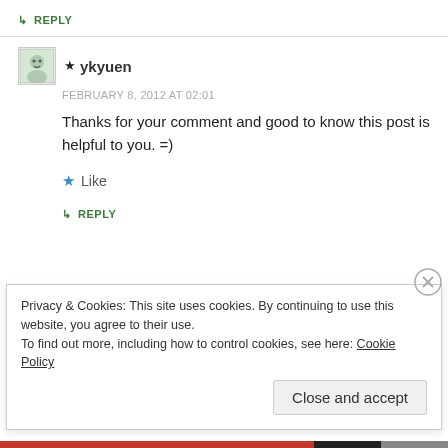↳ REPLY
★ ykyuen
FEBRUARY 8, 2012 AT 02:01
Thanks for your comment and good to know this post is helpful to you. =)
★ Like
↳ REPLY
Privacy & Cookies: This site uses cookies. By continuing to use this website, you agree to their use.
To find out more, including how to control cookies, see here: Cookie Policy
Close and accept